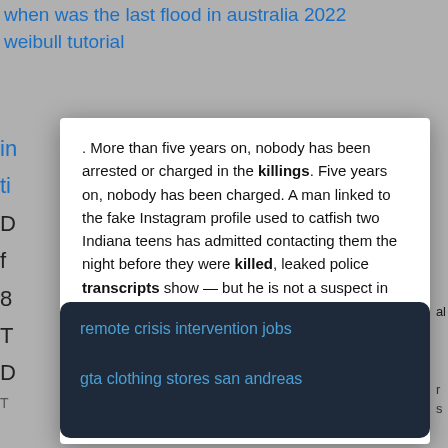when was the last flood in australia 2022
weibull tutorial
. More than five years on, nobody has been arrested or charged in the killings. Five years on, nobody has been charged. A man linked to the fake Instagram profile used to catfish two Indiana teens has admitted contacting them the night before they were killed, leaked police transcripts show — but he is not a suspect in their murder.According to court documents,.
FLYING GREEK MONSTERS
remote crisis intervention jobs
gta clothing stores san andreas